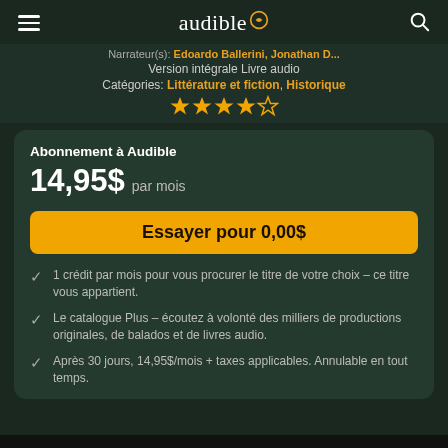audible
Narrateur(s): Edoardo Ballerini, Jonathan D...
Version intégrale Livre audio
Catégories: Littérature et fiction, Historique
[Figure (other): 4 out of 5 stars rating]
Abonnement à Audible
14,95$ par mois
Essayer pour 0,00$
1 crédit par mois pour vous procurer le titre de votre choix – ce titre vous appartient.
Le catalogue Plus – écoutez à volonté des milliers de productions originales, de balados et de livres audio.
Après 30 jours, 14,95$/mois + taxes applicables. Annulable en tout temps.